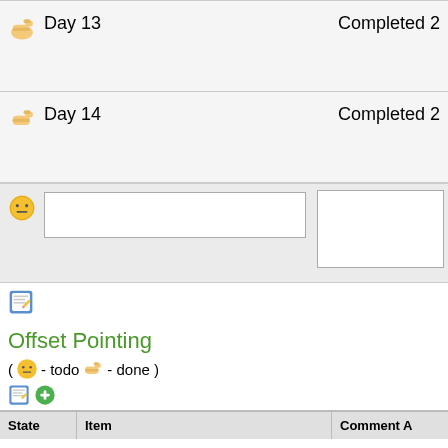|  | Day 13 | Completed 2 |
| --- | --- | --- |
|  | Day 14 | Completed 2 |
| --- | --- | --- |
[Figure (screenshot): Row with face emoji and two input text boxes]
[Figure (screenshot): Edit icon (pencil on notepad)]
Offset Pointing
( 😐 - todo 👉 - done )
[Figure (screenshot): Edit icon and green plus/add icon]
| State | Item | Comment A |
| --- | --- | --- |